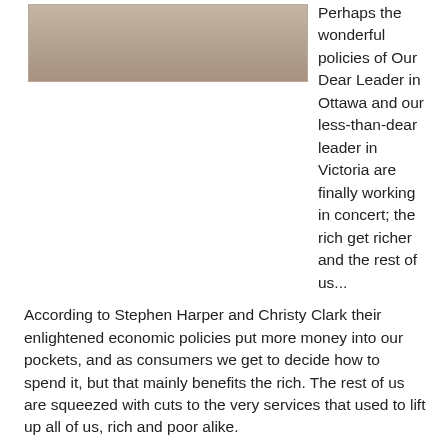[Figure (photo): Partial photo of a person or object with beige/tan background, cropped at top of page]
Perhaps the wonderful policies of Our Dear Leader in Ottawa and our less-than-dear leader in Victoria are finally working in concert; the rich get richer and the rest of us...
According to Stephen Harper and Christy Clark their enlightened economic policies put more money into our pockets, and as consumers we get to decide how to spend it, but that mainly benefits the rich. The rest of us are squeezed with cuts to the very services that used to lift up all of us, rich and poor alike.
The Government of BC used to promote the province as being "...the best place on Earth." For some reason that slogan has quietly disappeared, though it still pops up now and then. Having the highest rates of child poverty in Canada and seeing a doubling of homelessness in the past year alone might be reason enough to change the slogan.
Maybe we are winning the race after all. This is not good...